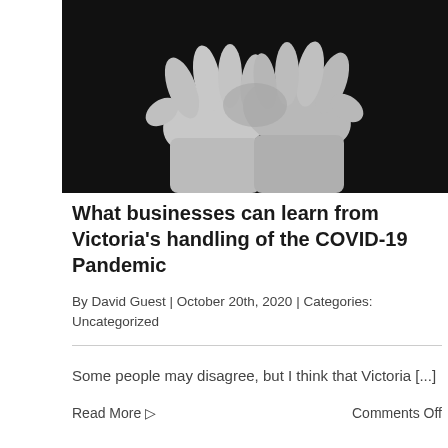[Figure (photo): Two gloved hands clasped together against a dark black background, suggesting medical or COVID-19 context]
What businesses can learn from Victoria's handling of the COVID-19 Pandemic
By David Guest | October 20th, 2020 | Categories: Uncategorized
Some people may disagree, but I think that Victoria [...]
Read More ▷
Comments Off